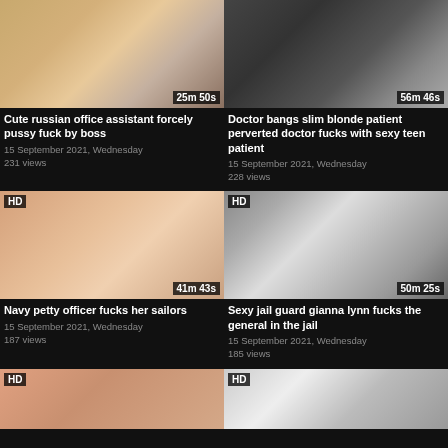[Figure (screenshot): Thumbnail of video: Cute russian office assistant forcely pussy fuck by boss, duration 25m 50s]
Cute russian office assistant forcely pussy fuck by boss
15 September 2021, Wednesday
231 views
[Figure (screenshot): Thumbnail of video: Doctor bangs slim blonde patient perverted doctor fucks with sexy teen patient, duration 56m 46s]
Doctor bangs slim blonde patient perverted doctor fucks with sexy teen patient
15 September 2021, Wednesday
228 views
[Figure (screenshot): Thumbnail of video: Navy petty officer fucks her sailors, HD, duration 41m 43s]
Navy petty officer fucks her sailors
15 September 2021, Wednesday
187 views
[Figure (screenshot): Thumbnail of video: Sexy jail guard gianna lynn fucks the general in the jail, HD, duration 50m 25s]
Sexy jail guard gianna lynn fucks the general in the jail
15 September 2021, Wednesday
185 views
[Figure (screenshot): Thumbnail of video (partial, bottom row left), HD badge visible]
[Figure (screenshot): Thumbnail of video (partial, bottom row right), HD badge visible]